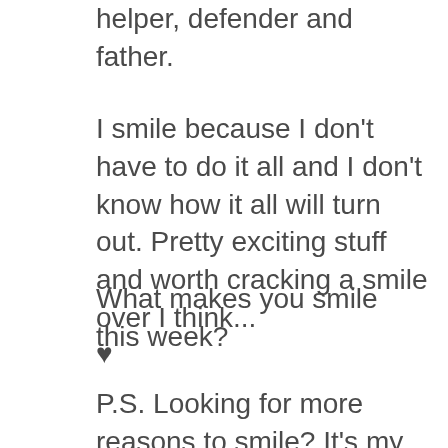helper, defender and father.
I smile because I don't have to do it all and I don't know how it all will turn out. Pretty exciting stuff and worth cracking a smile over I think...
What makes you smile this week?
♥
P.S. Looking for more reasons to smile? It's my pleasure to create connection, community and sometimes cute stuff just for you! I'd love